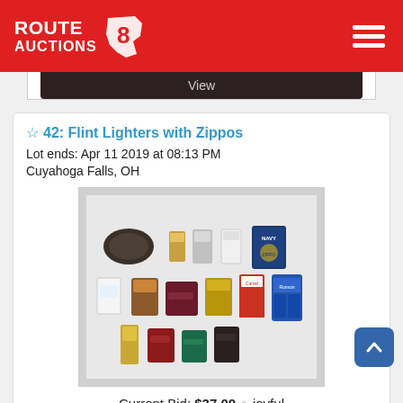ROUTE AUCTIONS 8
View
42: Flint Lighters with Zippos
Lot ends: Apr 11 2019 at 08:13 PM
Cuyahoga Falls, OH
[Figure (photo): Collection of flint lighters and Zippos arranged on a white background, approximately 15 lighters of various styles including table lighters, pocket lighters, Navy branded Zippo, and lighter fluid]
Current Bid: $37.00 ♀ joyful